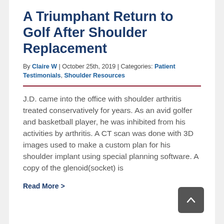A Triumphant Return to Golf After Shoulder Replacement
By Claire W | October 25th, 2019 | Categories: Patient Testimonials, Shoulder Resources
J.D. came into the office with shoulder arthritis treated conservatively for years. As an avid golfer and basketball player, he was inhibited from his activities by arthritis. A CT scan was done with 3D images used to make a custom plan for his shoulder implant using special planning software. A copy of the glenoid(socket) is
Read More >